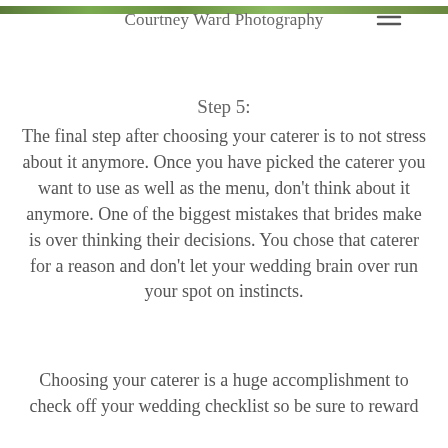[Figure (photo): Narrow strip of outdoor photo at the top of the page, showing green foliage/nature scene]
Courtney Ward Photography
Step 5:
The final step after choosing your caterer is to not stress about it anymore. Once you have picked the caterer you want to use as well as the menu, don't think about it anymore. One of the biggest mistakes that brides make is over thinking their decisions. You chose that caterer for a reason and don't let your wedding brain over run your spot on instincts.
Choosing your caterer is a huge accomplishment to check off your wedding checklist so be sure to reward